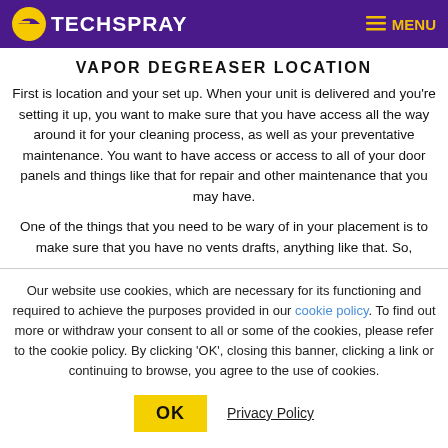TECHSPRAY | MENU
VAPOR DEGREASER LOCATION
First is location and your set up. When your unit is delivered and you're setting it up, you want to make sure that you have access all the way around it for your cleaning process, as well as your preventative maintenance. You want to have access or access to all of your door panels and things like that for repair and other maintenance that you may have.
One of the things that you need to be wary of in your placement is to make sure that you have no vents drafts, anything like that. So,
Our website use cookies, which are necessary for its functioning and required to achieve the purposes provided in our cookie policy. To find out more or withdraw your consent to all or some of the cookies, please refer to the cookie policy. By clicking 'OK', closing this banner, clicking a link or continuing to browse, you agree to the use of cookies.
OK | Privacy Policy